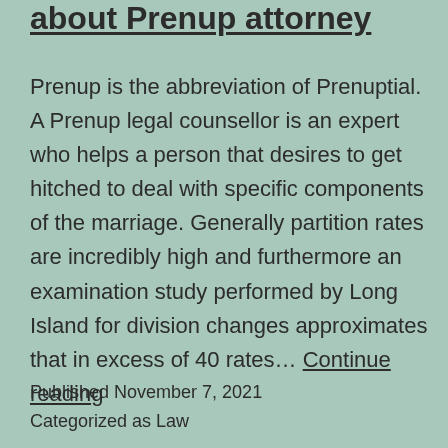about Prenup attorney
Prenup is the abbreviation of Prenuptial. A Prenup legal counsellor is an expert who helps a person that desires to get hitched to deal with specific components of the marriage. Generally partition rates are incredibly high and furthermore an examination study performed by Long Island for division changes approximates that in excess of 40 rates… Continue reading
Published November 7, 2021
Categorized as Law